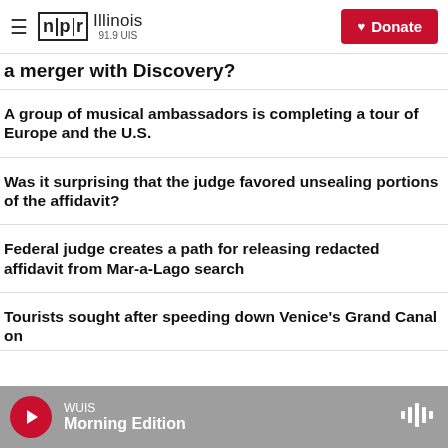NPR Illinois 91.9 UIS — Donate
a merger with Discovery?
A group of musical ambassadors is completing a tour of Europe and the U.S.
Was it surprising that the judge favored unsealing portions of the affidavit?
Federal judge creates a path for releasing redacted affidavit from Mar-a-Lago search
Tourists sought after speeding down Venice's Grand Canal on...
WUIS Morning Edition